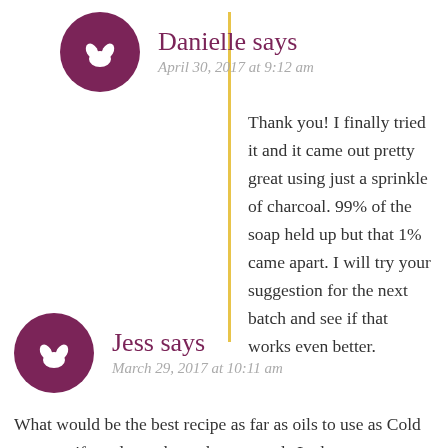Danielle says
April 30, 2017 at 9:12 am
Thank you! I finally tried it and it came out pretty great using just a sprinkle of charcoal. 99% of the soap held up but that 1% came apart. I will try your suggestion for the next batch and see if that works even better.
Jess says
March 29, 2017 at 10:11 am
What would be the best recipe as far as oils to use as Cold process, if we do not have the pre-made Lather...